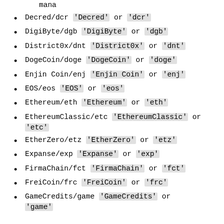mana (partial, top of page)
Decred/dcr 'Decred' or 'dcr'
DigiByte/dgb 'DigiByte' or 'dgb'
District0x/dnt 'District0x' or 'dnt'
DogeCoin/doge 'DogeCoin' or 'doge'
Enjin Coin/enj 'Enjin Coin' or 'enj'
EOS/eos 'EOS' or 'eos'
Ethereum/eth 'Ethereum' or 'eth'
EthereumClassic/etc 'EthereumClassic' or 'etc'
EtherZero/etz 'EtherZero' or 'etz'
Expanse/exp 'Expanse' or 'exp'
FirmaChain/fct 'FirmaChain' or 'fct'
FreiCoin/frc 'FreiCoin' or 'frc'
GameCredits/game 'GameCredits' or 'game'